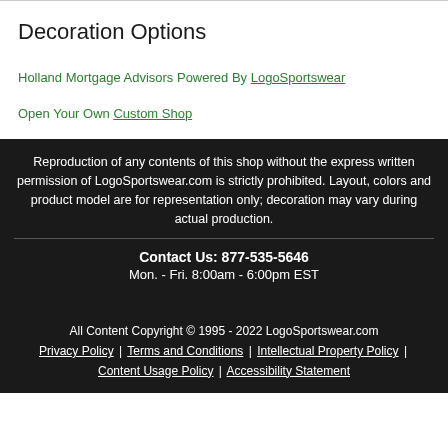Decoration Options
Holland Mortgage Advisors Powered By LogoSportswear
Open Your Own Custom Shop
Reproduction of any contents of this shop without the express written permission of LogoSportswear.com is strictly prohibited. Layout, colors and product model are for representation only; decoration may vary during actual production.
Contact Us: 877-535-5646
Mon. - Fri. 8:00am - 6:00pm EST
All Content Copyright © 1995 - 2022 LogoSportswear.com
Privacy Policy | Terms and Conditions | Intellectual Property Policy | Content Usage Policy | Accessibility Statement